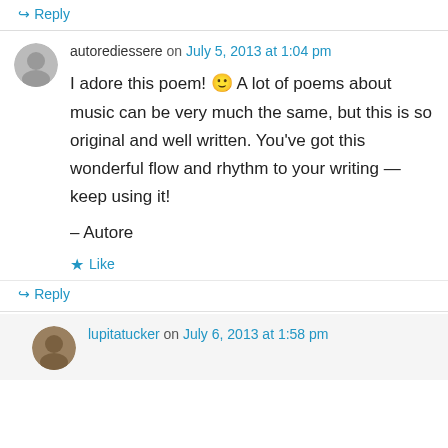↳ Reply
autorediessere on July 5, 2013 at 1:04 pm
I adore this poem! 🙂 A lot of poems about music can be very much the same, but this is so original and well written. You've got this wonderful flow and rhythm to your writing — keep using it!
– Autore
★ Like
↳ Reply
lupitatucker on July 6, 2013 at 1:58 pm